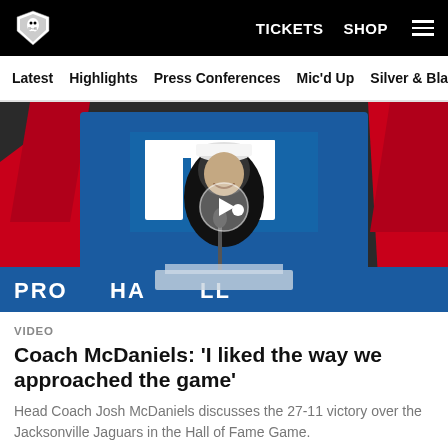Raiders | TICKETS  SHOP
Latest  Highlights  Press Conferences  Mic'd Up  Silver & Black
[Figure (photo): Head Coach Josh McDaniels speaking at a podium in front of a Pro Football Hall of Fame backdrop, with a play button overlay indicating a video.]
VIDEO
Coach McDaniels: 'I liked the way we approached the game'
Head Coach Josh McDaniels discusses the 27-11 victory over the Jacksonville Jaguars in the Hall of Fame Game.